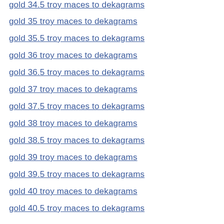gold 34.5 troy maces to dekagrams
gold 35 troy maces to dekagrams
gold 35.5 troy maces to dekagrams
gold 36 troy maces to dekagrams
gold 36.5 troy maces to dekagrams
gold 37 troy maces to dekagrams
gold 37.5 troy maces to dekagrams
gold 38 troy maces to dekagrams
gold 38.5 troy maces to dekagrams
gold 39 troy maces to dekagrams
gold 39.5 troy maces to dekagrams
gold 40 troy maces to dekagrams
gold 40.5 troy maces to dekagrams